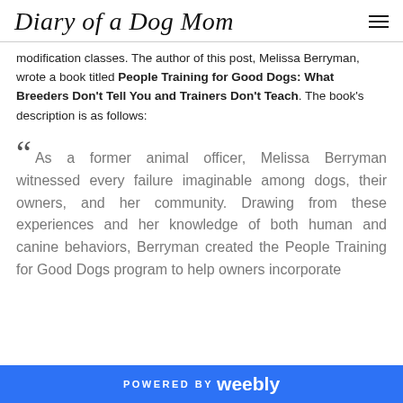Diary of a Dog Mom
modification classes. The author of this post, Melissa Berryman, wrote a book titled People Training for Good Dogs: What Breeders Don't Tell You and Trainers Don't Teach. The book's description is as follows:
““ As a former animal officer, Melissa Berryman witnessed every failure imaginable among dogs, their owners, and her community. Drawing from these experiences and her knowledge of both human and canine behaviors, Berryman created the People Training for Good Dogs program to help owners incorporate
POWERED BY weebly